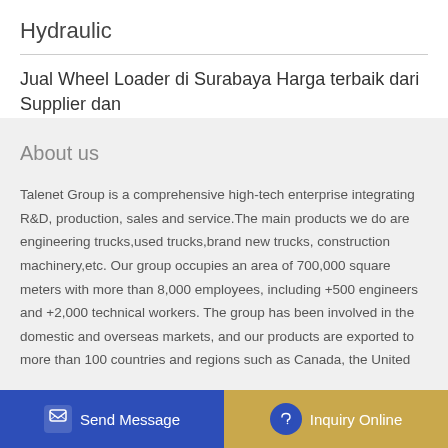Hydraulic
Jual Wheel Loader di Surabaya Harga terbaik dari Supplier dan
About us
Talenet Group is a comprehensive high-tech enterprise integrating R&D, production, sales and service.The main products we do are engineering trucks,used trucks,brand new trucks, construction machinery,etc. Our group occupies an area of 700,000 square meters with more than 8,000 employees, including +500 engineers and +2,000 technical workers. The group has been involved in the domestic and overseas markets, and our products are exported to more than 100 countries and regions such as Canada, the United
Send Message | Inquiry Online